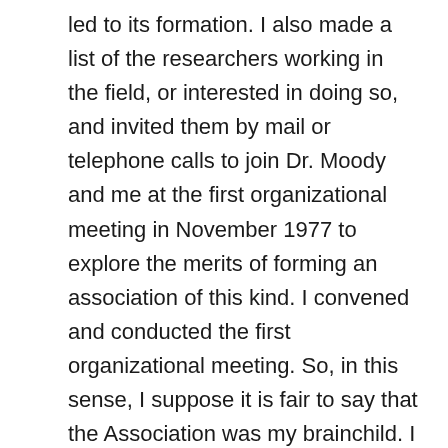led to its formation. I also made a list of the researchers working in the field, or interested in doing so, and invited them by mail or telephone calls to join Dr. Moody and me at the first organizational meeting in November 1977 to explore the merits of forming an association of this kind. I convened and conducted the first organizational meeting. So, in this sense, I suppose it is fair to say that the Association was my brainchild. I think most fellow co-founders would agree, if not all. Although I originally conceived the association and served as the principal catalyst for its formation, it took shape through a process of collaboration and teamwork that spanned several months in late 1977 and early 1978. Thus the formal organization known today as IANDS was indeed co-founded and co-created by Dr. S... and Me... Di... and S... and...